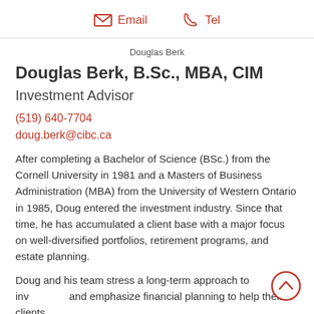Email  Tel
[Figure (photo): Profile photo placeholder for Douglas Berk]
Douglas Berk, B.Sc., MBA, CIM
Investment Advisor
(519) 640-7704
doug.berk@cibc.ca
After completing a Bachelor of Science (BSc.) from the Cornell University in 1981 and a Masters of Business Administration (MBA) from the University of Western Ontario in 1985, Doug entered the investment industry. Since that time, he has accumulated a client base with a major focus on well-diversified portfolios, retirement programs, and estate planning.
Doug and his team stress a long-term approach to inv... and emphasize financial planning to help their clients ...